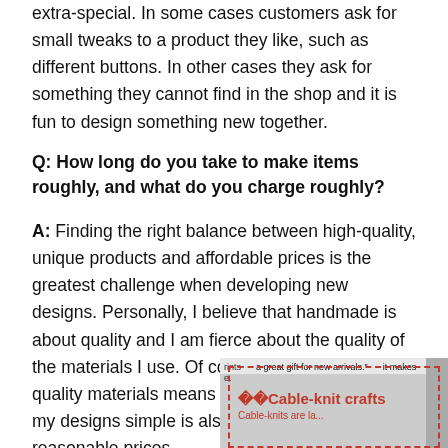extra-special. In some cases customers ask for small tweaks to a product they like, such as different buttons. In other cases they ask for something they cannot find in the shop and it is fun to design something new together.
Q: How long do you take to make items roughly, and what do you charge roughly?
A: Finding the right balance between high-quality, unique products and affordable prices is the greatest challenge when developing new designs. Personally, I believe that handmade is about quality and I am fierce about the quality of the materials I use. Of course, insisting on high-quality materials means higher costs. Keeping my designs simple is also a way to keep reasonable prices.
[Figure (photo): Partial image of a magazine or book page showing text 'a great gift for new arrivals.' and a section title '7 Cable-knit crafts' with red dashed border and subtitle text beginning 'Cable-knits are la...']